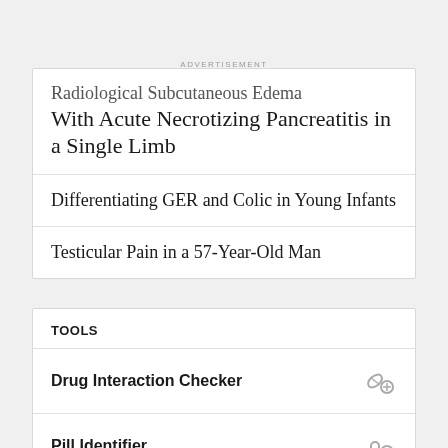ADVERTISEMENT
Radiological Subcutaneous Edema With Acute Necrotizing Pancreatitis in a Single Limb
Differentiating GER and Colic in Young Infants
Testicular Pain in a 57-Year-Old Man
TOOLS
Drug Interaction Checker
Pill Identifier